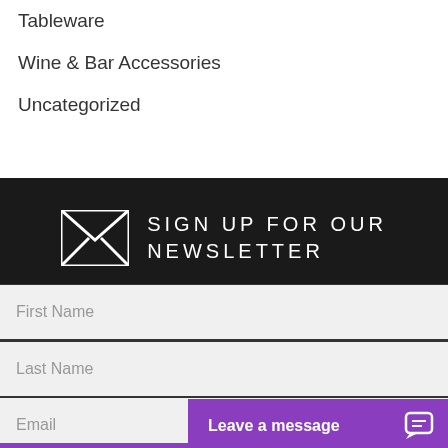Tableware
Wine & Bar Accessories
Uncategorized
SIGN UP FOR OUR NEWSLETTER
First Name
Last Name
Email
Leave a message